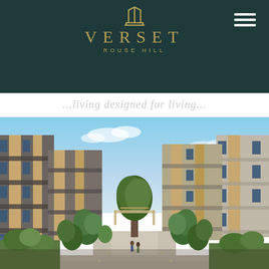[Figure (logo): Verset Rouse Hill logo with crown/trident icon in gold on dark teal background, with hamburger menu icon top right]
...living designed for living...
[Figure (photo): Architectural render of Verset Rouse Hill residential apartment complex showing a courtyard walkway flanked by modern 4-storey apartment buildings with warm timber accents, balconies, blue sky, and landscaped gardens with trees]